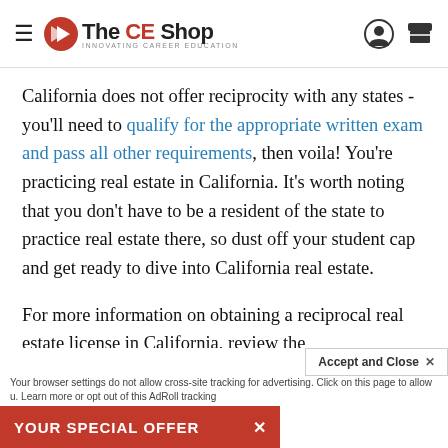The CE Shop
California does not offer reciprocity with any states - you'll need to qualify for the appropriate written exam and pass all other requirements, then voila! You're practicing real estate in California. It's worth noting that you don't have to be a resident of the state to practice real estate there, so dust off your student cap and get ready to dive into California real estate.
For more information on obtaining a reciprocal real estate license in California, review the
YOUR SPECIAL OFFER | Accept and Close x | Your browser settings do not allow cross-site tracking for advertising. Click on this page to allow u. Learn more or opt out of this AdRoll tracking